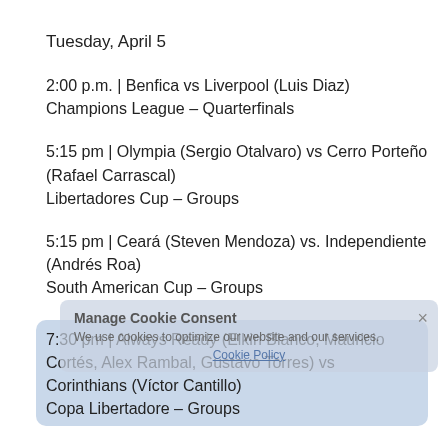Tuesday, April 5
2:00 p.m. | Benfica vs Liverpool (Luis Diaz)
Champions League – Quarterfinals
5:15 pm | Olympia (Sergio Otalvaro) vs Cerro Porteño (Rafael Carrascal)
Libertadores Cup – Groups
5:15 pm | Ceará (Steven Mendoza) vs. Independiente (Andrés Roa)
South American Cup – Groups
7:30 pm | Always Ready (Elkin Blanco, Mauricio Cortés, Alex Rambal, Gustavo Torres) vs Corinthians (Víctor Cantillo)
Copa Libertadore – Groups